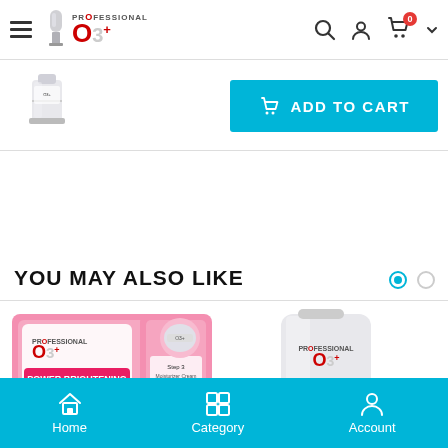O3+ Professional - Navigation header with hamburger menu, logo, search, user, and cart icons
[Figure (screenshot): Product thumbnail image of O3+ professional product]
[Figure (screenshot): Add to Cart button in cyan/turquoise color with shopping bag icon]
YOU MAY ALSO LIKE
[Figure (photo): O3+ Power Brightening facial kit product in pink packaging]
[Figure (photo): O3+ Brightening & Whitening product in white tube packaging]
Home | Category | Account - bottom navigation bar